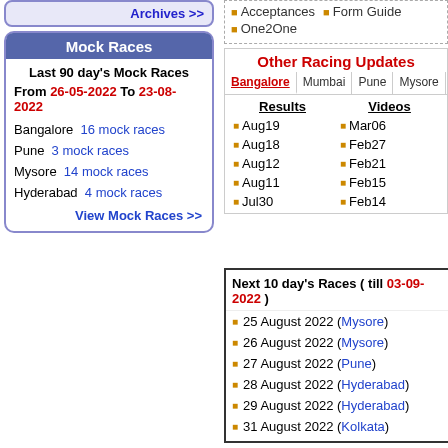Archives >>
Mock Races
Last 90 day's Mock Races
From 26-05-2022 To 23-08-2022
Bangalore  16 mock races
Pune  3 mock races
Mysore  14 mock races
Hyderabad  4 mock races
View Mock Races >>
Acceptances
Form Guide
One2One
Other Racing Updates
Bangalore | Mumbai | Pune | Mysore | De
Results
Videos
Aug19
Mar06
Aug18
Feb27
Aug12
Feb21
Aug11
Feb15
Jul30
Feb14
Next 10 day's Races ( till 03-09-2022 )
25 August 2022 ( Mysore )
26 August 2022 ( Mysore )
27 August 2022 ( Pune )
28 August 2022 ( Hyderabad )
29 August 2022 ( Hyderabad )
31 August 2022 ( Kolkata )